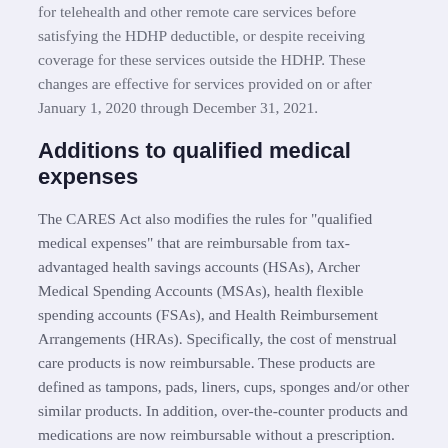for telehealth and other remote care services before satisfying the HDHP deductible, or despite receiving coverage for these services outside the HDHP. These changes are effective for services provided on or after January 1, 2020 through December 31, 2021.
Additions to qualified medical expenses
The CARES Act also modifies the rules for "qualified medical expenses" that are reimbursable from tax-advantaged health savings accounts (HSAs), Archer Medical Spending Accounts (MSAs), health flexible spending accounts (FSAs), and Health Reimbursement Arrangements (HRAs). Specifically, the cost of menstrual care products is now reimbursable. These products are defined as tampons, pads, liners, cups, sponges and/or other similar products. In addition, over-the-counter products and medications are now reimbursable without a prescription. The new rules apply to amounts paid after Dec. 31, 2019. Taxpayers should save receipts of these